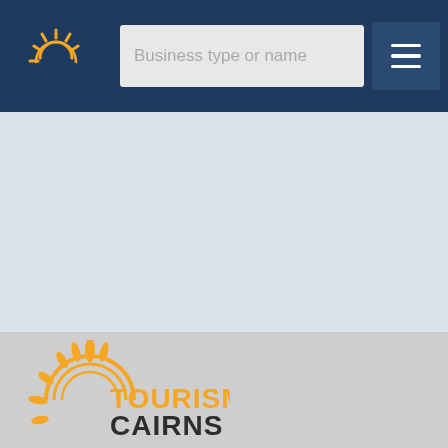Tourism Cairns website header with logo, search bar (Business type or name), and menu button
[Figure (logo): Tourism Cairns logo: orange sun rays and semicircle with text TOURISM CAIRNS in orange and dark charcoal]
[Figure (logo): Small Tourism Cairns logo icon in header (white/gold sun rays on dark navy background)]